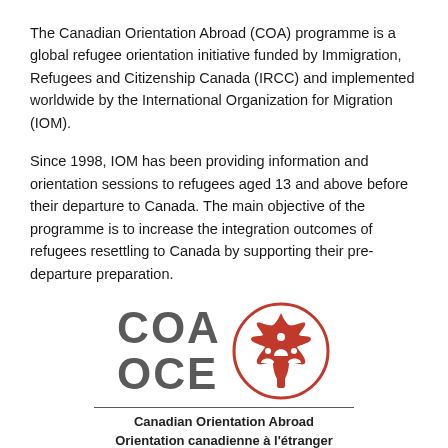The Canadian Orientation Abroad (COA) programme is a global refugee orientation initiative funded by Immigration, Refugees and Citizenship Canada (IRCC) and implemented worldwide by the International Organization for Migration (IOM).
Since 1998, IOM has been providing information and orientation sessions to refugees aged 13 and above before their departure to Canada. The main objective of the programme is to increase the integration outcomes of refugees resettling to Canada by supporting their pre-departure preparation.
[Figure (logo): COA OCE logo with red maple leaf icon containing figures, and text 'Canadian Orientation Abroad / Orientation canadienne à l'étranger']